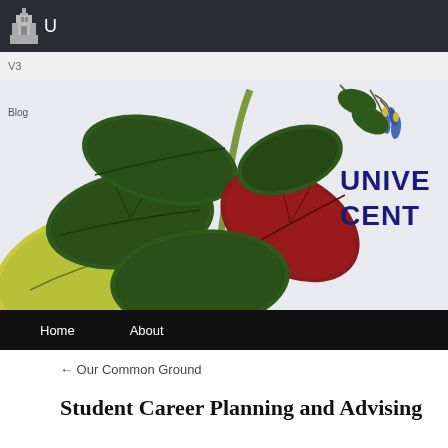U
[Figure (screenshot): University career center website screenshot showing a botanical illustration banner with green, red/crimson and yellow leaves on a pale background, with partial text 'UNIVE' and 'CENT' in dark blue on the right side. Navigation bar at bottom reads 'Home' and 'About'.]
Blog
← Our Common Ground
Student Career Planning and Advising